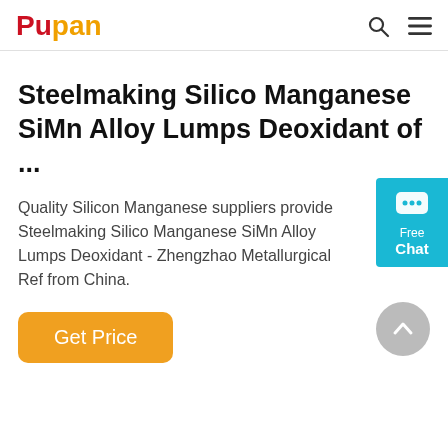Pupan
Steelmaking Silico Manganese SiMn Alloy Lumps Deoxidant of ...
Quality Silicon Manganese suppliers provide Steelmaking Silico Manganese SiMn Alloy Lumps Deoxidant - Zhengzhao Metallurgical Ref from China.
Get Price